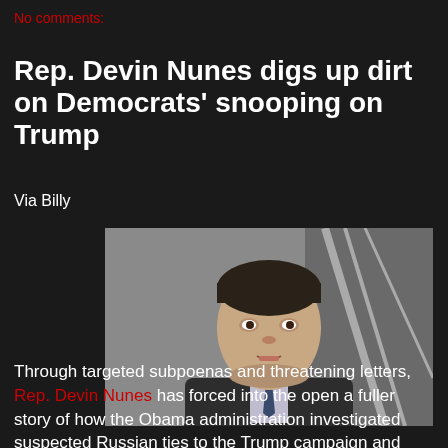No comments:
Rep. Devin Nunes digs up dirt on Democrats' snooping on Trump
Via Billy
[Figure (photo): Photo of Rep. Devin Nunes, a man in a dark suit with a tie, looking upward, with a staircase railing visible in the background]
Through targeted subpoenas and threatening letters, Rep. Devin Nunes has forced into the open a fuller story of how the Obama administration investigated suspected Russian ties to the Trump campaign and monitored people connected to the presidential candidate.